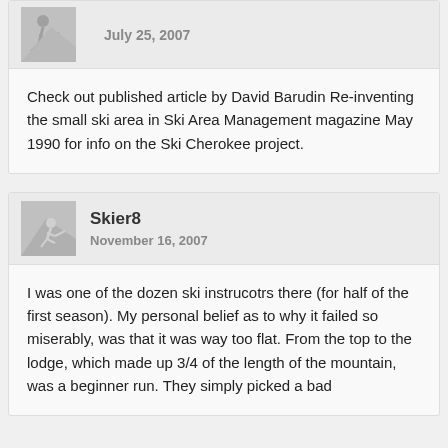July 25, 2007
Check out published article by David Barudin Re-inventing the small ski area in Ski Area Management magazine May 1990 for info on the Ski Cherokee project.
Skier8
November 16, 2007
I was one of the dozen ski instrucotrs there (for half of the first season). My personal belief as to why it failed so miserably, was that it was way too flat. From the top to the lodge, which made up 3/4 of the length of the mountain, was a beginner run. They simply picked a bad